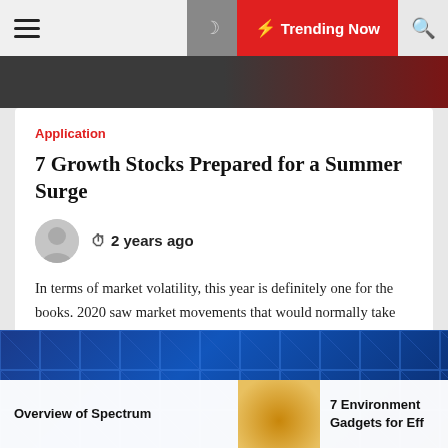Trending Now
[Figure (photo): Top banner photo strip showing a dark scene]
Application
7 Growth Stocks Prepared for a Summer Surge
2 years ago
In terms of market volatility, this year is definitely one for the books. 2020 saw market movements that would normally take decades, compressed into a single year. With unemployment rates at their highest and businesses facing the risk of bankruptcy, the economy hit some new lows this year. However, a [...]
[Figure (photo): Blue geometric ceiling architecture photo]
Overview of Spectrum
7 Environment Gadgets for Eff